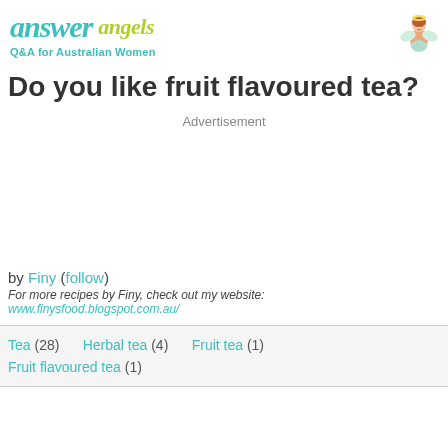answer angels — Q&A for Australian Women
Do you like fruit flavoured tea?
Advertisement
by Finy (follow)
For more recipes by Finy, check out my website: www.finysfood.blogspot.com.au/
Tea (28)   Herbal tea (4)   Fruit tea (1)   Fruit flavoured tea (1)